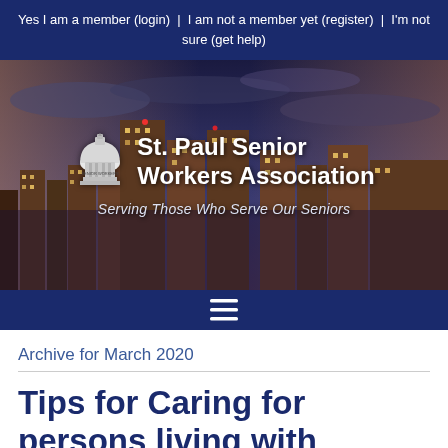Yes I am a member (login)  |  I am not a member yet (register)  |  I'm not sure (get help)
[Figure (photo): City skyline at dusk with dark blue sky — St. Paul Senior Workers Association banner with dome logo, subtitle: Serving Those Who Serve Our Seniors]
Archive for March 2020
Tips for Caring for persons living with dementia in a long-